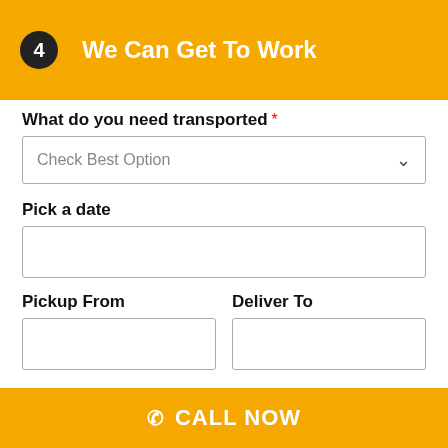4  We Can Get To Work
What do you need transported *
Check Best Option
Pick a date
Pickup From
Deliver To
Your Mobile Number *
CALL NOW